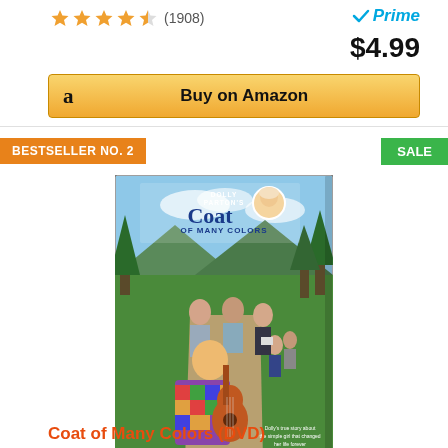(1908)
[Figure (screenshot): Amazon Prime badge with blue checkmark]
$4.99
Buy on Amazon
BESTSELLER NO. 2
SALE
[Figure (photo): DVD cover of Dolly Parton's Coat of Many Colors showing a young girl with a colorful coat playing guitar with family members walking on a path]
Coat of Many Colors (DVD)